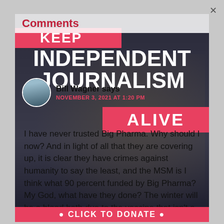Comments
[Figure (photo): Background poster image showing 'KEEP INDEPENDENT JOURNALISM ALIVE' text with a photo of a woman holding an award, overlaid with a comment from Bill Wagner]
Bill Wagner says
NOVEMBER 3, 2021 AT 1:20 PM
I have never trusted Big Pharma. Why should I now? And in light of all that they are covering up, it is clear they have crimes against humanity to say the least, and the MSM is I think what 90 percent funded by Big Pharma? My God, what have they done? The winter will be a blood bath due to the vaccine that isn't a vaccine, but a bioweapon aimed at the population.